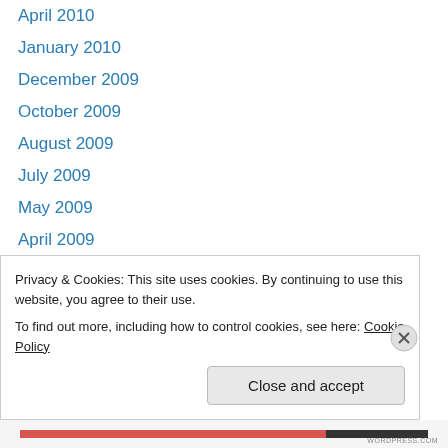April 2010
January 2010
December 2009
October 2009
August 2009
July 2009
May 2009
April 2009
March 2009
February 2009
January 2009
September 2008
August 2008
Privacy & Cookies: This site uses cookies. By continuing to use this website, you agree to their use.
To find out more, including how to control cookies, see here: Cookie Policy
Close and accept